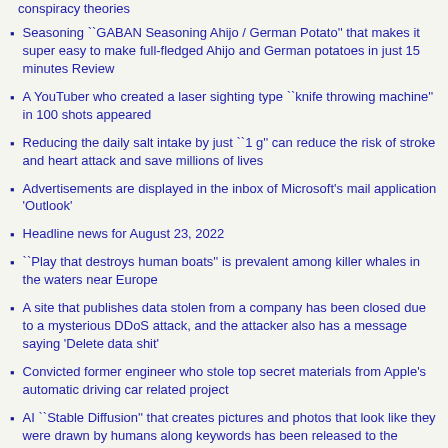conspiracy theories
Seasoning ``GABAN Seasoning Ahijo / German Potato'' that makes it super easy to make full-fledged Ahijo and German potatoes in just 15 minutes Review
A YouTuber who created a laser sighting type ``knife throwing machine'' in 100 shots appeared
Reducing the daily salt intake by just ``1 g'' can reduce the risk of stroke and heart attack and save millions of lives
Advertisements are displayed in the inbox of Microsoft's mail application 'Outlook'
Headline news for August 23, 2022
``Play that destroys human boats'' is prevalent among killer whales in the waters near Europe
A site that publishes data stolen from a company has been closed due to a mysterious DDoS attack, and the attacker also has a message saying 'Delete data shit'
Convicted former engineer who stole top secret materials from Apple's automatic driving car related project
AI ``Stable Diffusion'' that creates pictures and photos that look like they were drawn by humans along keywords has been released to the public, so I tried using it
VESA announces a new standard iClearMR that displays in an...